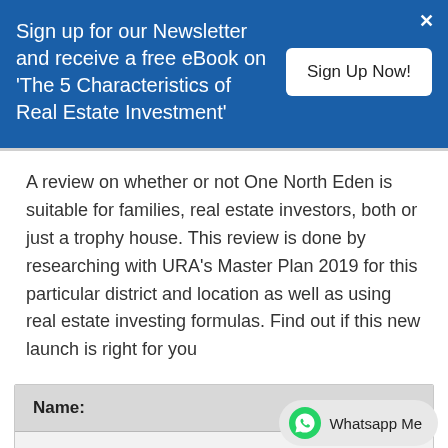Sign up for our Newsletter and receive a free eBook on 'The 5 Characteristics of Real Estate Investment'
Sign Up Now!
A review on whether or not One North Eden is suitable for families, real estate investors, both or just a trophy house. This review is done by researching with URA's Master Plan 2019 for this particular district and location as well as using real estate investing formulas. Find out if this new launch is right for you
| Name: | District |
| --- | --- |
| One North Eden | 05 |
Whatsapp Me